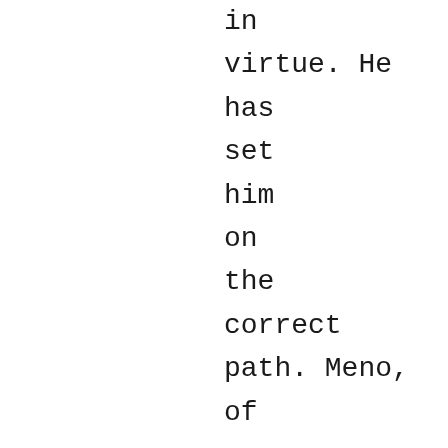in virtue. He has set him on the correct path. Meno, of course, does not follow up on what he has just been shown. He